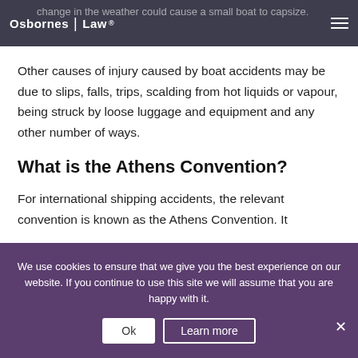Osbornes | Law
change in the weather could cause a small boat to capsize.
Other causes of injury caused by boat accidents may be due to slips, falls, trips, scalding from hot liquids or vapour, being struck by loose luggage and equipment and any other number of ways.
What is the Athens Convention?
For international shipping accidents, the relevant convention is known as the Athens Convention. It
We use cookies to ensure that we give you the best experience on our website. If you continue to use this site we will assume that you are happy with it.